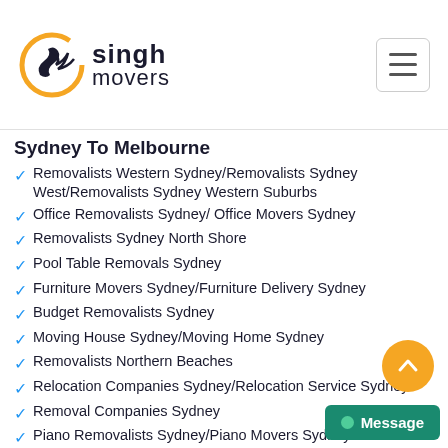[Figure (logo): Singh Movers logo with circular icon and text]
Sydney To Melbourne
Removalists Western Sydney/Removalists Sydney West/Removalists Sydney Western Suburbs
Office Removalists Sydney/ Office Movers Sydney
Removalists Sydney North Shore
Pool Table Removals Sydney
Furniture Movers Sydney/Furniture Delivery Sydney
Budget Removalists Sydney
Moving House Sydney/Moving Home Sydney
Removalists Northern Beaches
Relocation Companies Sydney/Relocation Service Sydney
Removal Companies Sydney
Piano Removalists Sydney/Piano Movers Sydney